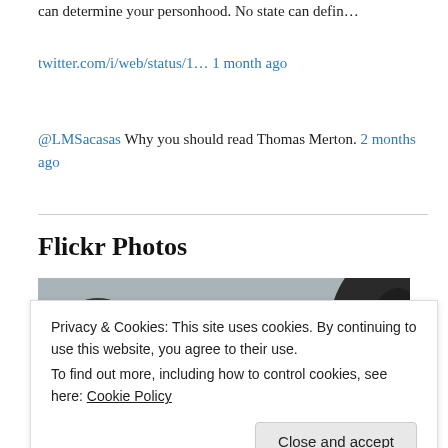can determine your personhood. No state can defin…
twitter.com/i/web/status/1… 1 month ago
@LMSacasas Why you should read Thomas Merton. 2 months ago
Flickr Photos
[Figure (photo): Black and white photograph of trees and a building against a partly cloudy sky]
Privacy & Cookies: This site uses cookies. By continuing to use this website, you agree to their use. To find out more, including how to control cookies, see here: Cookie Policy
Close and accept